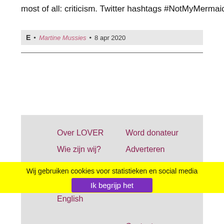most of all: criticism. Twitter hashtags #NotMyMermaid and
E • Martine Mussies • 8 apr 2020
Over LOVER
Wie zijn wij?
Beleid
Geschiedenis
English
Word donateur
Adverteren
Vacatures
Samenwerken
Contact
Nieuwsbrief
Veelgestelde vragen
Privacyverklaring
[Figure (illustration): Social media icons: Facebook, Twitter, Instagram, LinkedIn]
Wij gebruiken cookies voor statistieken en social media
Ik begrijp het